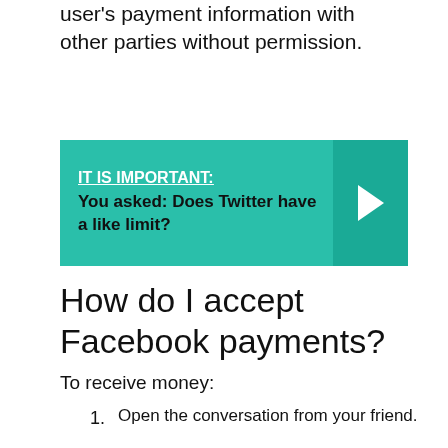user's payment information with other parties without permission.
[Figure (infographic): Teal callout box with text: IT IS IMPORTANT: You asked: Does Twitter have a like limit? with a right-arrow chevron on the right side.]
How do I accept Facebook payments?
To receive money:
Open the conversation from your friend.
Tap Add Card in the message.
Add your debit card and setup your account to accept money for the first time.